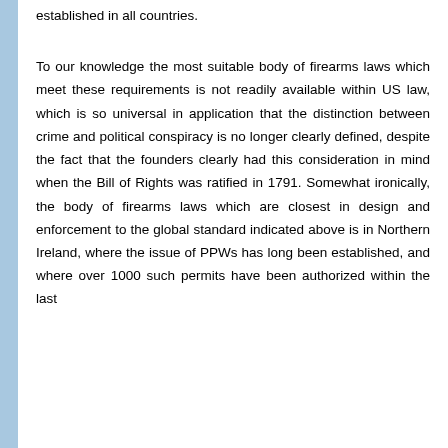established in all countries.
To our knowledge the most suitable body of firearms laws which meet these requirements is not readily available within US law, which is so universal in application that the distinction between crime and political conspiracy is no longer clearly defined, despite the fact that the founders clearly had this consideration in mind when the Bill of Rights was ratified in 1791. Somewhat ironically, the body of firearms laws which are closest in design and enforcement to the global standard indicated above is in Northern Ireland, where the issue of PPWs has long been established, and where over 1000 such permits have been authorized within the last